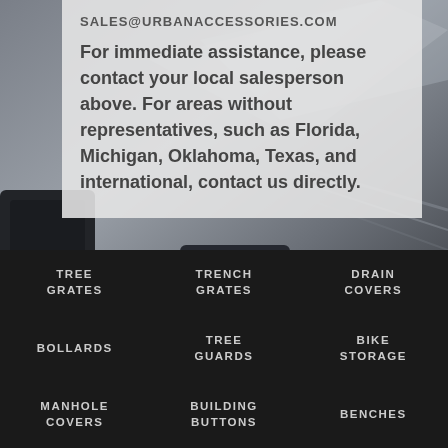[Figure (photo): Dark photo background showing metal drain covers / grates, wet reflective surface, close-up industrial]
SALES@URBANACCESSORIES.COM
For immediate assistance, please contact your local salesperson above. For areas without representatives, such as Florida, Michigan, Oklahoma, Texas, and international, contact us directly.
TREE GRATES
TRENCH GRATES
DRAIN COVERS
BOLLARDS
TREE GUARDS
BIKE STORAGE
MANHOLE COVERS
BUILDING BUTTONS
BENCHES